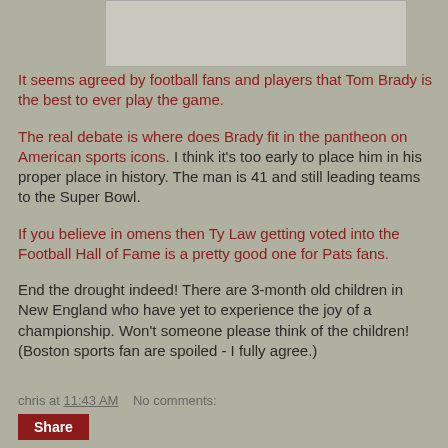[Figure (other): Partially visible image at the top of the page]
It seems agreed by football fans and players that Tom Brady is the best to ever play the game.
The real debate is where does Brady fit in the pantheon on American sports icons. I think it's too early to place him in his proper place in history. The man is 41 and still leading teams to the Super Bowl.
If you believe in omens then Ty Law getting voted into the Football Hall of Fame is a pretty good one for Pats fans.
End the drought indeed! There are 3-month old children in New England who have yet to experience the joy of a championship. Won't someone please think of the children! (Boston sports fan are spoiled - I fully agree.)
chris at 11:43 AM    No comments: